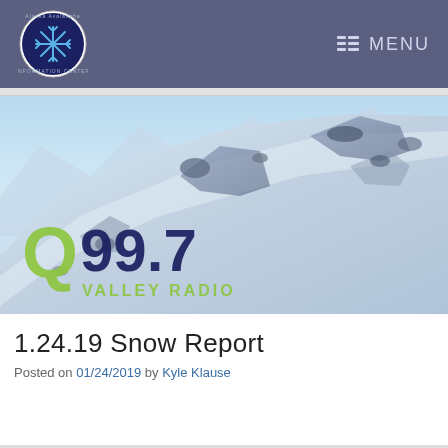Alaska Avalanche Information Center — MENU
[Figure (photo): Snow-covered mountain terrain with rocky outcroppings under a blue sky. Q99.7 Valley Radio logo overlaid in lower left corner.]
1.24.19 Snow Report
Posted on 01/24/2019 by Kyle Klause